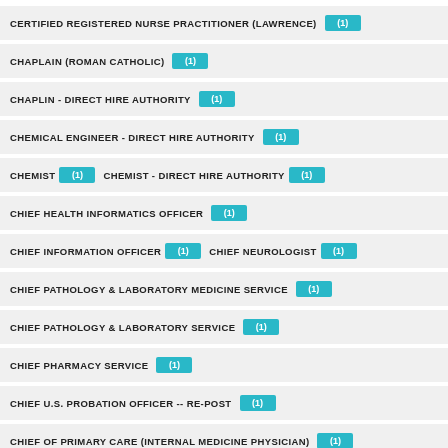CERTIFIED REGISTERED NURSE PRACTITIONER (LAWRENCE) (1)
CHAPLAIN (ROMAN CATHOLIC) (1)
CHAPLIN - DIRECT HIRE AUTHORITY (1)
CHEMICAL ENGINEER - DIRECT HIRE AUTHORITY (1)
CHEMIST (1)  CHEMIST - DIRECT HIRE AUTHORITY (1)
CHIEF HEALTH INFORMATICS OFFICER (1)
CHIEF INFORMATION OFFICER (1)  CHIEF NEUROLOGIST (1)
CHIEF PATHOLOGY & LABORATORY MEDICINE SERVICE (1)
CHIEF PATHOLOGY & LABORATORY SERVICE (1)
CHIEF PHARMACY SERVICE (1)
CHIEF U.S. PROBATION OFFICER -- RE-POST (1)
CHIEF OF PRIMARY CARE (INTERNAL MEDICINE PHYSICIAN) (1)
CHIEF OF STAFF (1)  CHIEF-BEHAVIORAL HEALTH (1)